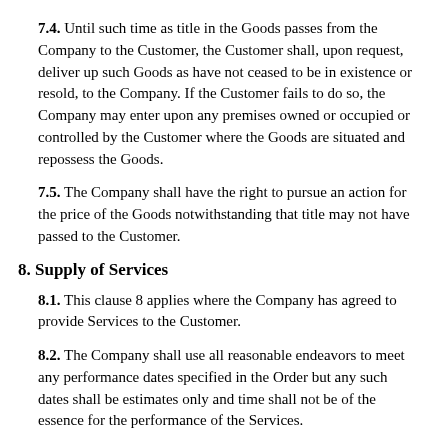7.4. Until such time as title in the Goods passes from the Company to the Customer, the Customer shall, upon request, deliver up such Goods as have not ceased to be in existence or resold, to the Company. If the Customer fails to do so, the Company may enter upon any premises owned or occupied or controlled by the Customer where the Goods are situated and repossess the Goods.
7.5. The Company shall have the right to pursue an action for the price of the Goods notwithstanding that title may not have passed to the Customer.
8. Supply of Services
8.1. This clause 8 applies where the Company has agreed to provide Services to the Customer.
8.2. The Company shall use all reasonable endeavors to meet any performance dates specified in the Order but any such dates shall be estimates only and time shall not be of the essence for the performance of the Services.
8.3. The Company reserves the right to amend any Services specification if necessary to comply with any applicable law or regulatory requirement, or if the amendments will not materially affect the manner or quality of the Services and the